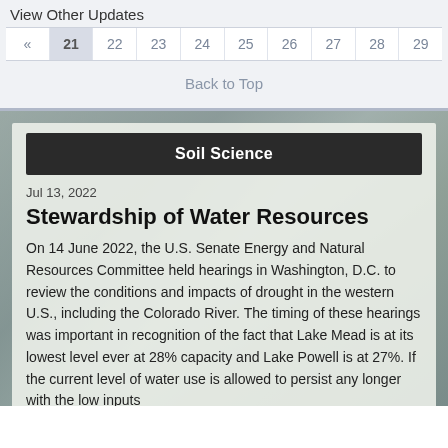View Other Updates
| « | 21 | 22 | 23 | 24 | 25 | 26 | 27 | 28 | 29 |
| --- | --- | --- | --- | --- | --- | --- | --- | --- | --- |
Back to Top
Soil Science
Jul 13, 2022
Stewardship of Water Resources
On 14 June 2022, the U.S. Senate Energy and Natural Resources Committee held hearings in Washington, D.C. to review the conditions and impacts of drought in the western U.S., including the Colorado River. The timing of these hearings was important in recognition of the fact that Lake Mead is at its lowest level ever at 28% capacity and Lake Powell is at 27%. If the current level of water use is allowed to persist any longer with the low inputs